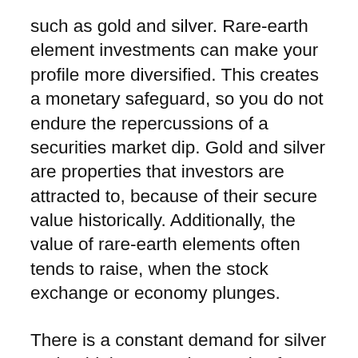such as gold and silver. Rare-earth element investments can make your profile more diversified. This creates a monetary safeguard, so you do not endure the repercussions of a securities market dip. Gold and silver are properties that investors are attracted to, because of their secure value historically. Additionally, the value of rare-earth elements often tends to raise, when the stock exchange or economy plunges.
There is a constant demand for silver and gold, because the needs of production, production as well as modern technology markets keep on increasing. It is simple to market your silver/gold investments at a later date, for any type of factor, as well as